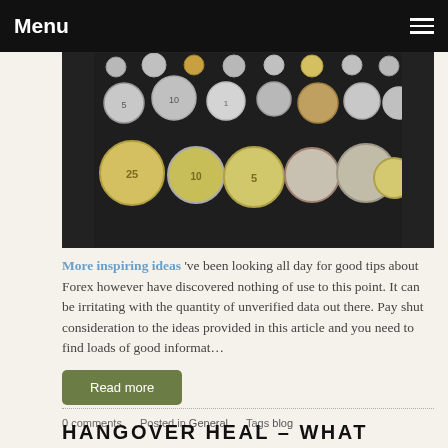Menu
[Figure (photo): Collection of various coins arranged on a dark background, showing denominations of 5, 10, 25 and other coins.]
More inspiring ideas 've been looking all day for good tips about Forex however have discovered nothing of use to this point. It can be irritating with the quantity of unverified data out there. Pay shut consideration to the ideas provided in this article and you need to find loads of good informat…
Read more
0 comments   Posted in General   Tags blog
HANGOVER HEAL – WHAT